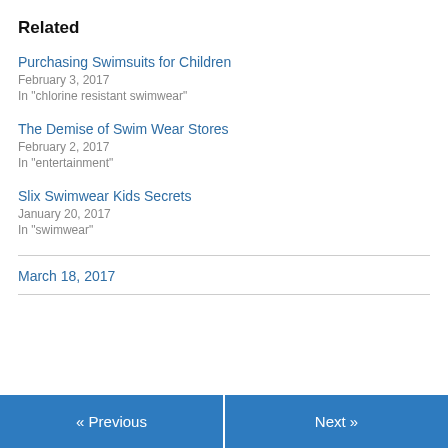Related
Purchasing Swimsuits for Children
February 3, 2017
In "chlorine resistant swimwear"
The Demise of Swim Wear Stores
February 2, 2017
In "entertainment"
Slix Swimwear Kids Secrets
January 20, 2017
In "swimwear"
March 18, 2017
« Previous | Next »